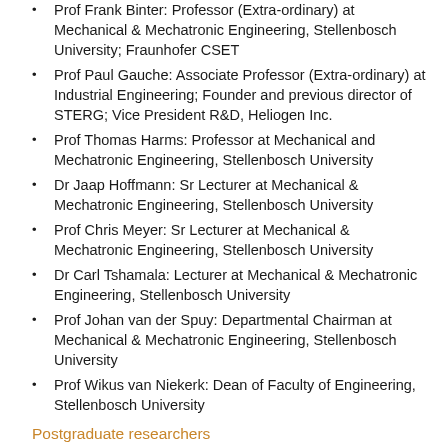Prof Frank Binter: Professor (Extra-ordinary) at Mechanical & Mechatronic Engineering, Stellenbosch University; Fraunhofer CSET
Prof Paul Gauche: Associate Professor (Extra-ordinary) at Industrial Engineering; Founder and previous director of STERG; Vice President R&D, Heliogen Inc.
Prof Thomas Harms: Professor at Mechanical and Mechatronic Engineering, Stellenbosch University
Dr Jaap Hoffmann: Sr Lecturer at Mechanical & Mechatronic Engineering, Stellenbosch University
Prof Chris Meyer: Sr Lecturer at Mechanical & Mechatronic Engineering, Stellenbosch University
Dr Carl Tshamala: Lecturer at Mechanical & Mechatronic Engineering, Stellenbosch University
Prof Johan van der Spuy: Departmental Chairman at Mechanical & Mechatronic Engineering, Stellenbosch University
Prof Wikus van Niekerk: Dean of Faculty of Engineering, Stellenbosch University
Postgraduate researchers